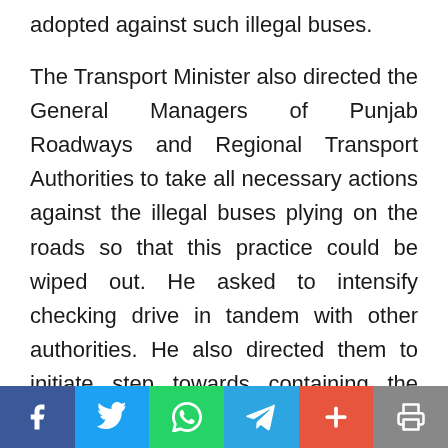adopted against such illegal buses.
The Transport Minister also directed the General Managers of Punjab Roadways and Regional Transport Authorities to take all necessary actions against the illegal buses plying on the roads so that this practice could be wiped out. He asked to intensify checking drive in tandem with other authorities. He also directed them to initiate step towards containing the incidents of pilferage of diesel from buses and a pilot project in this direction should be unveiled. The V.T.S. System should also
Social share bar: Facebook, Twitter, WhatsApp, Telegram, Plus, Print